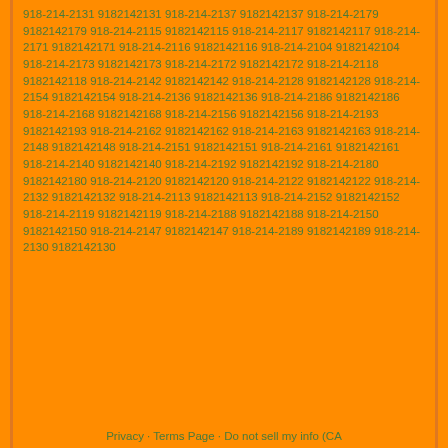918-214-2131 9182142131 918-214-2137 9182142137 918-214-2179 9182142179 918-214-2115 9182142115 918-214-2117 9182142117 918-214-2171 9182142171 918-214-2116 9182142116 918-214-2104 9182142104 918-214-2173 9182142173 918-214-2172 9182142172 918-214-2118 9182142118 918-214-2142 9182142142 918-214-2128 9182142128 918-214-2154 9182142154 918-214-2136 9182142136 918-214-2186 9182142186 918-214-2168 9182142168 918-214-2156 9182142156 918-214-2193 9182142193 918-214-2162 9182142162 918-214-2163 9182142163 918-214-2148 9182142148 918-214-2151 9182142151 918-214-2161 9182142161 918-214-2140 9182142140 918-214-2192 9182142192 918-214-2180 9182142180 918-214-2120 9182142120 918-214-2122 9182142122 918-214-2132 9182142132 918-214-2113 9182142113 918-214-2152 9182142152 918-214-2119 9182142119 918-214-2188 9182142188 918-214-2150 9182142150 918-214-2147 9182142147 918-214-2189 9182142189 918-214-2130 9182142130
Privacy · Terms Page · Do not sell my info (CA